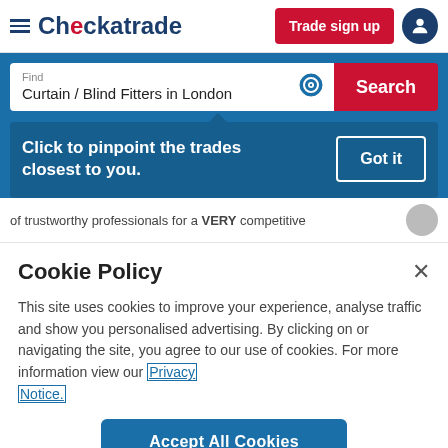[Figure (screenshot): Checkatrade website header with logo, Trade sign up button, and user icon]
[Figure (screenshot): Search bar showing 'Curtain / Blind Fitters in London' with location icon and Search button on blue background]
Click to pinpoint the trades closest to you.
of trustworthy professionals for a VERY competitive
Cookie Policy
This site uses cookies to improve your experience, analyse traffic and show you personalised advertising. By clicking on or navigating the site, you agree to our use of cookies. For more information view our Privacy Notice.
Accept All Cookies